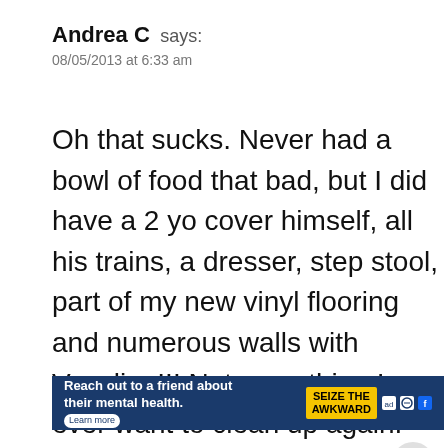Andrea C says: 08/05/2013 at 6:33 am
Oh that sucks. Never had a bowl of food that bad, but I did have a 2 yo cover himself, all his trains, a dresser, step stool, part of my new vinyl flooring and numerous walls with Vaseline!!! Not something I ever want to clean up again. My ex said he laughed the entire way over to my house (20 mi... because he new laughing in front of me
[Figure (other): Share button overlay and What's Next panel showing French Onion Chicken Bake thumbnail]
[Figure (other): Advertisement banner: Reach out to a friend about their mental health. Learn more. SEIZE THE AWKWARD.]